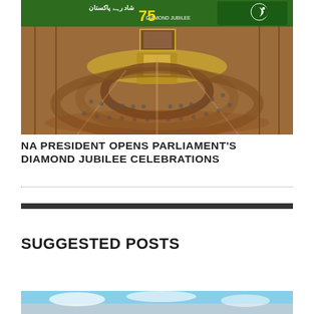[Figure (photo): Interior of Pakistan's National Assembly chamber during Diamond Jubilee celebrations, showing the circular seating arrangement of parliament members. A banner with Urdu text and '75 Diamond Jubilee' is visible at the top.]
NA PRESIDENT OPENS PARLIAMENT'S DIAMOND JUBILEE CELEBRATIONS
SUGGESTED POSTS
[Figure (photo): Partially visible outdoor/landscape photo at the bottom of the page]